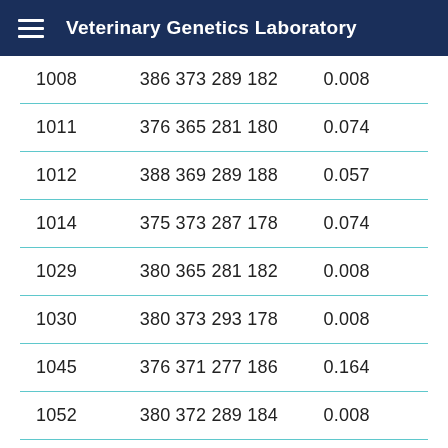Veterinary Genetics Laboratory
| 1008 | 386 373 289 182 | 0.008 |
| 1011 | 376 365 281 180 | 0.074 |
| 1012 | 388 369 289 188 | 0.057 |
| 1014 | 375 373 287 178 | 0.074 |
| 1029 | 380 365 281 182 | 0.008 |
| 1030 | 380 373 293 178 | 0.008 |
| 1045 | 376 371 277 186 | 0.164 |
| 1052 | 380 372 289 184 | 0.008 |
| 1068 | 380 373 287 181 | 0.221 |